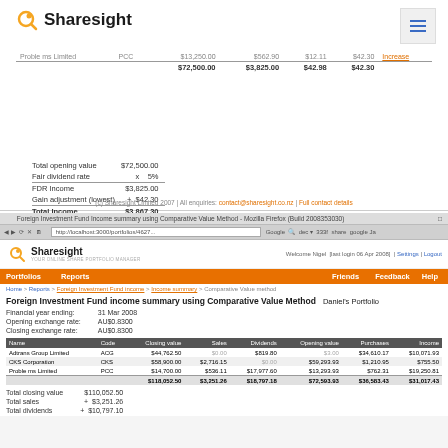[Figure (screenshot): Sharesight logo with orange search icon and hamburger menu button in top-right]
|  |  |  |  |  |  |
| --- | --- | --- | --- | --- | --- |
| Proble ms Limited | PCC | $13,250.00 | $562.90 | $12.11 | $42.30 | Increase |
|  |  | $72,500.00 | $3,825.00 | $42.98 | $42.30 |  |
|  |  |
| --- | --- |
| Total opening value | $72,500.00 |
| Fair dividend rate | x 5% |
| FDR Income | $3,825.00 |
| Gain adjustment (lowest) | + $42.30 |
| Total Income | $3,867.30 |
(c) Sharesight Limited 2007 | All enquiries: contact@sharesight.co.nz | Full contact details
[Figure (screenshot): Browser screenshot of Sharesight Foreign Investment Fund income summary using Comparative Value Method for Daniel's Portfolio]
Foreign Investment Fund income summary using Comparative Value Method   Daniel's Portfolio
|  |  |
| --- | --- |
| Financial year ending: | 31 Mar 2008 |
| Opening exchange rate: | AU$0.8300 |
| Closing exchange rate: | AU$0.8300 |
| Name | Code | Closing value | Sales | Dividends | Opening value | Purchases | Income |
| --- | --- | --- | --- | --- | --- | --- | --- |
| Adtrans Group Limited | ACG | $44,762.50 | $0.00 | $819.80 | $3.00 | $34,610.17 | $10,071.93 |
| CKS Corporation | CKS | $58,900.00 | $2,716.15 | $0.00 | $59,293.93 | $1,210.95 | $755.50 |
| Proble ms Limited | PCC | $14,700.00 | $536.11 | $17,977.60 | $13,293.93 | $762.31 | $19,250.81 |
|  |  | $118,052.50 | $3,251.26 | $18,797.18 | $72,593.93 | $36,583.43 | $31,017.43 |
|  |  |
| --- | --- |
| Total closing value | $110,052.50 |
| Total sales | + $3,251.26 |
| Total dividends | + $10,797.10 |